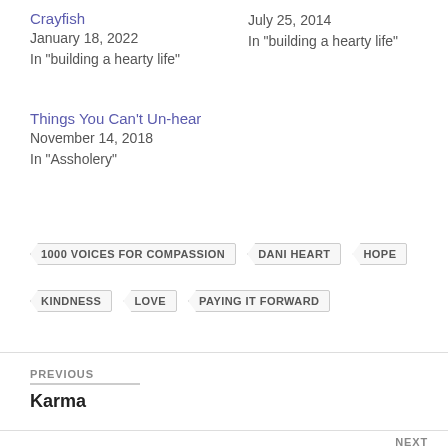Crayfish
January 18, 2022
In "building a hearty life"
July 25, 2014
In "building a hearty life"
Things You Can't Un-hear
November 14, 2018
In "Assholery"
1000 VOICES FOR COMPASSION
DANI HEART
HOPE
KINDNESS
LOVE
PAYING IT FORWARD
PREVIOUS
Karma
NEXT